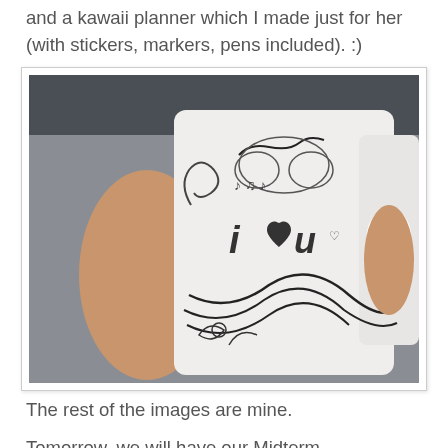and a kawaii planner which I made just for her (with stickers, markers, pens included). :)
[Figure (photo): A hand holding a white Starbucks tumbler cup decorated with hand-drawn doodles including the text 'i ♡ u', music notes, and floral designs. Another plain Starbucks cup is visible in the background.]
The rest of the images are mine.
Tomorrow, we will have our Midterm Examinations in English 106, and still, I haven't read my notes. The exam will start by 7 in the morning, which means I really need to get my self ready as early as 6. Phew. I wish I won't be late by tomorrow.
Ps. I can't wait for the Domo-Kun mousepad and band aids